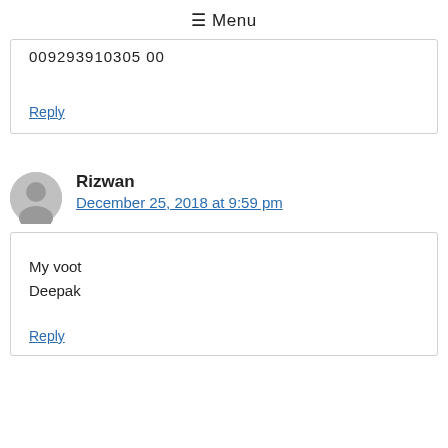≡ Menu
009293910305 00
Reply
Rizwan
December 25, 2018 at 9:59 pm
My voot
Deepak
Reply